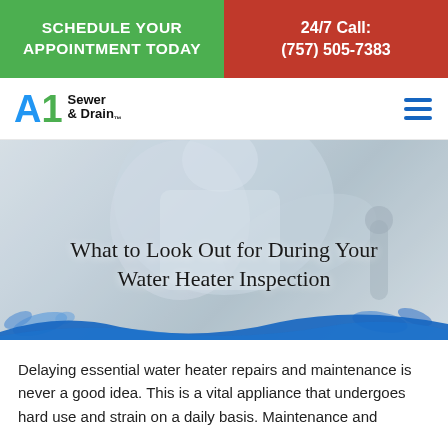SCHEDULE YOUR APPOINTMENT TODAY | 24/7 Call: (757) 505-7383
[Figure (logo): A1 Sewer & Drain logo with blue A1 letters and company name]
[Figure (photo): Plumber or technician working on a water heater, blurred background with blue water wave overlay at bottom]
What to Look Out for During Your Water Heater Inspection
Delaying essential water heater repairs and maintenance is never a good idea. This is a vital appliance that undergoes hard use and strain on a daily basis. Maintenance and